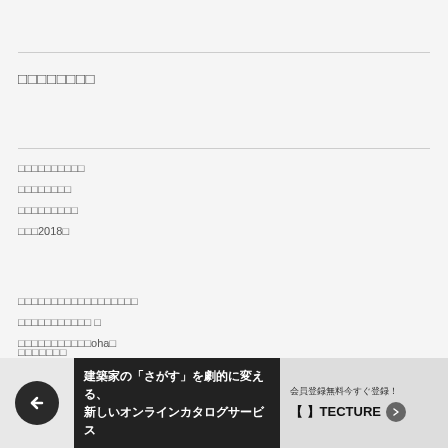□□□□□□□□
□□□□□□□□□□
□□□□□□□□
□□□□□□□□□
□□□2018□
□□□□□□□□□□□□□□□□□□
□□□□□□□□□□□ □
□□□□□□□□□□□oha□
□□□□□□□□□□□□□
□□□□□□□
□□□□□□□
[Figure (other): Advertisement banner for TECTURE online catalog service with back navigation button]